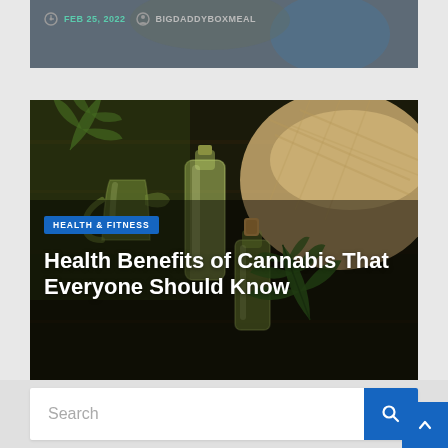[Figure (photo): Partial view of a blog post card showing date and author metadata on a dark background]
FEB 25, 2022   BIGDADDYBOXMEAL
[Figure (photo): Blog post card with cannabis oil bottles and hemp seeds on dark wood background. Shows HEALTH & FITNESS badge and article title.]
HEALTH & FITNESS
Health Benefits of Cannabis That Everyone Should Know
JAN 1, 2022   BIGDADDYBOXMEAL
Search